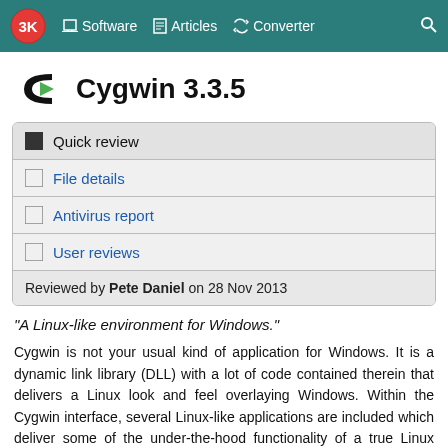3K | Software | Articles | Converter | Search
Cygwin 3.3.5
Quick review
File details
Antivirus report
User reviews
Reviewed by Pete Daniel on 28 Nov 2013
"A Linux-like environment for Windows."
Cygwin is not your usual kind of application for Windows. It is a dynamic link library (DLL) with a lot of code contained therein that delivers a Linux look and feel overlaying Windows. Within the Cygwin interface, several Linux-like applications are included which deliver some of the under-the-hood functionality of a true Linux operating system. Cygwin is not a virtual machine for running Linux compatible apps, nor will it allow Windows apps to run with extra Linux functionality. However, for Windows users both familiar and